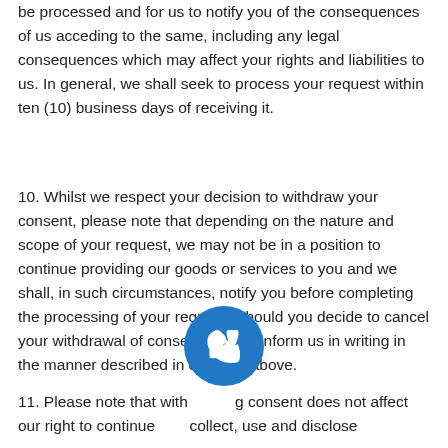be processed and for us to notify you of the consequences of us acceding to the same, including any legal consequences which may affect your rights and liabilities to us. In general, we shall seek to process your request within ten (10) business days of receiving it.
10. Whilst we respect your decision to withdraw your consent, please note that depending on the nature and scope of your request, we may not be in a position to continue providing our goods or services to you and we shall, in such circumstances, notify you before completing the processing of your request. Should you decide to cancel your withdrawal of consent, please inform us in writing in the manner described in clause 8 above.
11. Please note that withdrawing consent does not affect our right to continue to collect, use and disclose
[Figure (illustration): Blue circular phone/call icon with white telephone handset symbol, overlapping the bottom text paragraphs]